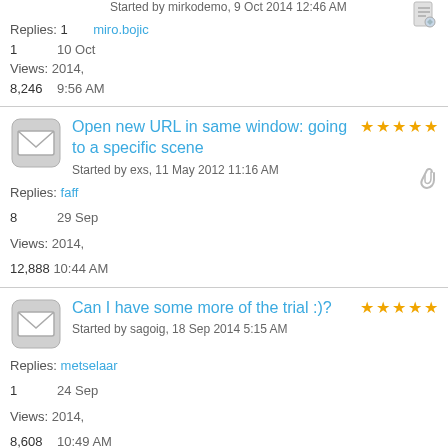Started by mirkodemo, 9 Oct 2014 12:46 AM
Replies: 1   miro.bojic   10 Oct   Views: 8,246   2014, 9:56 AM
Open new URL in same window: going to a specific scene
Started by exs, 11 May 2012 11:16 AM
Replies: 8   faff   29 Sep   Views: 12,888   2014, 10:44 AM
Can I have some more of the trial :)?
Started by sagoig, 18 Sep 2014 5:15 AM
Replies: 1   metselaar   24 Sep   Views: 8,608   2014, 10:49 AM